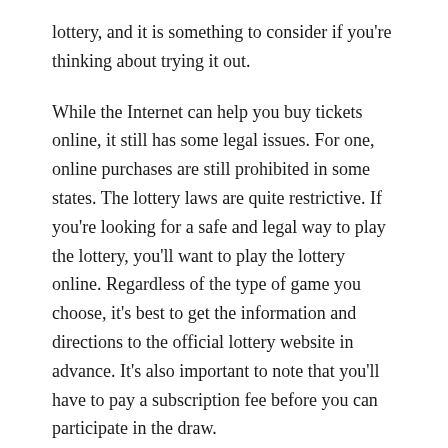lottery, and it is something to consider if you're thinking about trying it out.
While the Internet can help you buy tickets online, it still has some legal issues. For one, online purchases are still prohibited in some states. The lottery laws are quite restrictive. If you're looking for a safe and legal way to play the lottery, you'll want to play the lottery online. Regardless of the type of game you choose, it's best to get the information and directions to the official lottery website in advance. It's also important to note that you'll have to pay a subscription fee before you can participate in the draw.
The online lottery industry is experiencing a technological revolution, as it follows the same rules as online gambling. The internet has created a secure platform for people to place wagers and collect winnings. If you're looking to play the lottery for the first time, you can find the best lottery site for